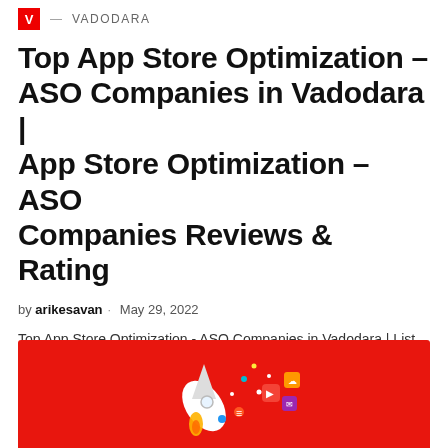VADODARA
Top App Store Optimization – ASO Companies in Vadodara | App Store Optimization – ASO Companies Reviews & Rating
by arikesavan · May 29, 2022
Top App Store Optimization - ASO Companies in Vadodara | List of App Store Optimization - ASO Agency Vadodara | App Store Optimization - ASO Company in Vadodara - Gujarat
[Figure (illustration): Red banner with rocket and colorful icons illustration at the bottom of the page]